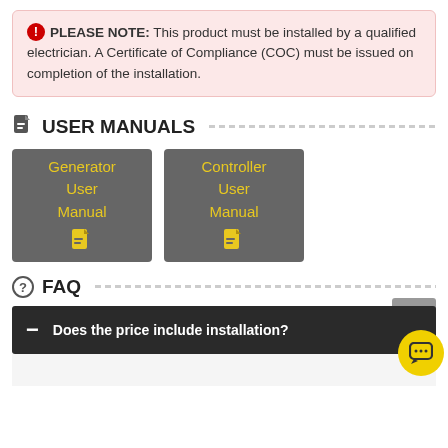PLEASE NOTE: This product must be installed by a qualified electrician. A Certificate of Compliance (COC) must be issued on completion of the installation.
USER MANUALS
[Figure (other): Generator User Manual PDF button card]
[Figure (other): Controller User Manual PDF button card]
FAQ
Does the price include installation?